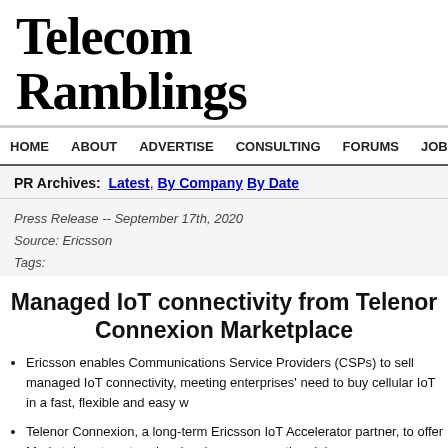Telecom Ramblings
HOME  ABOUT  ADVERTISE  CONSULTING  FORUMS  JOBS  CO...
PR Archives:  Latest, By Company  By Date
Press Release -- September 17th, 2020
Source: Ericsson
Tags:
Managed IoT connectivity from Telenor Connexion Marketplace
Ericsson enables Communications Service Providers (CSPs) to sell managed IoT connectivity, meeting enterprises' need to buy cellular IoT in a fast, flexible and easy way.
Telenor Connexion, a long-term Ericsson IoT Accelerator partner, to offer via the Marketplace to enterprise developers across the globe.
Simplifying the purchase and deployment of cellular IoT connectivity...